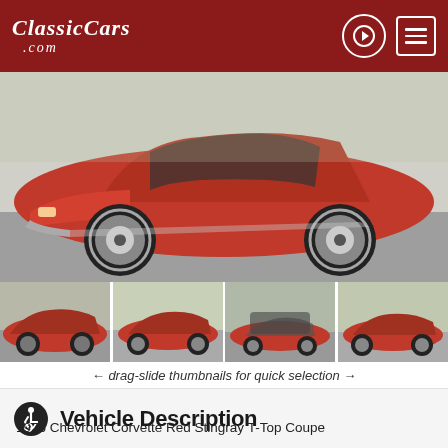[Figure (logo): ClassicCars.com logo in white italic text on dark red header background]
[Figure (photo): Main large photo of a red 1976 Chevrolet Corvette Stingray T-Top Coupe, front-side angle view in a parking lot]
[Figure (photo): Row of four thumbnail photos of the same red Corvette from various angles]
← drag-slide thumbnails for quick selection →
Vehicle Description
1976 Chevrolet Corvette Red Stingray T-Top Coupe